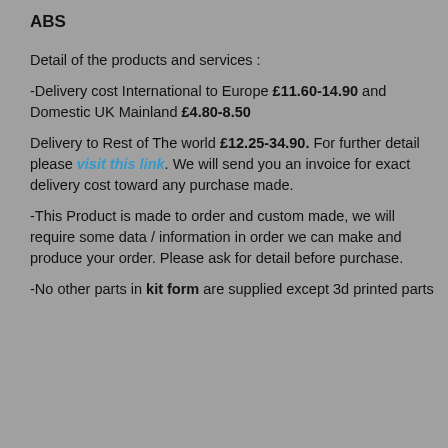ABS
Detail of the products and services :
-Delivery cost International to Europe £11.60-14.90 and Domestic UK Mainland £4.80-8.50
Delivery to Rest of The world £12.25-34.90. For further detail please visit this link. We will send you an invoice for exact delivery cost toward any purchase made.
-This Product is made to order and custom made, we will require some data / information in order we can make and produce your order. Please ask for detail before purchase.
-No other parts in kit form are supplied except 3d printed parts